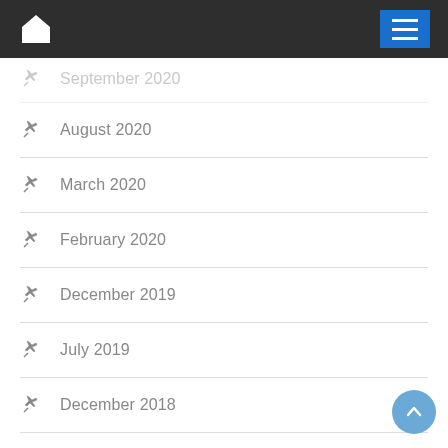Navigation bar with home icon and menu button
September 2020 (partially visible)
August 2020
March 2020
February 2020
December 2019
July 2019
December 2018
September 2017